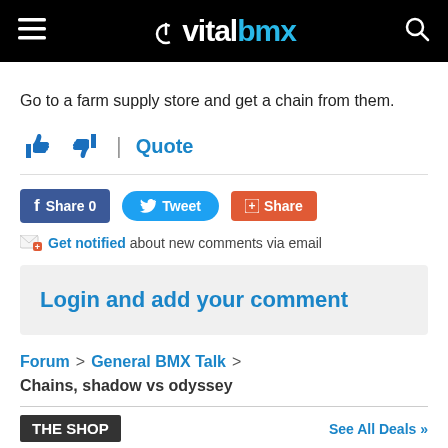[Figure (logo): Vital BMX website header with hamburger menu icon on left, VitalBMX logo in center (white 'vital' and blue 'bmx'), and search icon on right, on black background]
Go to a farm supply store and get a chain from them.
👍 👎 | Quote
f Share 0   Tweet   + Share
Get notified about new comments via email
Login and add your comment
Forum > General BMX Talk > Chains, shadow vs odyssey
THE SHOP   See All Deals »